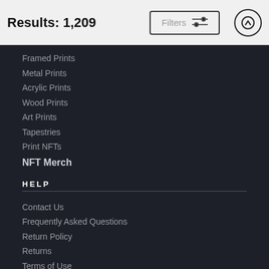Results: 1,209
Framed Prints
Metal Prints
Acrylic Prints
Wood Prints
Art Prints
Tapestries
Print NFTs
NFT Merch
HELP
Contact Us
Frequently Asked Questions
Return Policy
Returns
Terms of Use
Privacy Policy
LOCATION SETTINGS
Houston, TX (United States)